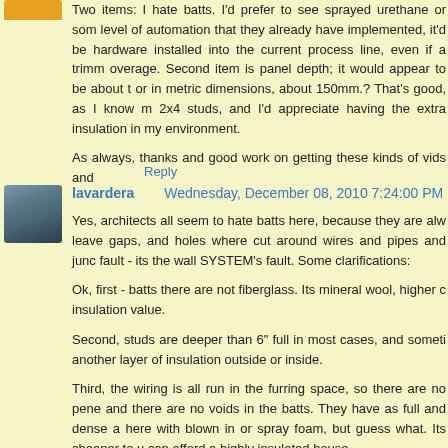Two items: I hate batts. I'd prefer to see sprayed urethane or some level of automation that they already have implemented, it'd be hardware installed into the current process line, even if a trimm overage. Second item is panel depth; it would appear to be about t or in metric dimensions, about 150mm.? That's good, as I know m 2x4 studs, and I'd appreciate having the extra insulation in my environment.
As always, thanks and good work on getting these kinds of vids and
Reply
lavardera   Wednesday, December 08, 2010 7:24:00 PM
Yes, architects all seem to hate batts here, because they are alw leave gaps, and holes where cut around wires and pipes and junc fault - its the wall SYSTEM's fault. Some clarifications:
Ok, first - batts there are not fiberglass. Its mineral wool, higher c insulation value.
Second, studs are deeper than 6" full in most cases, and someti another layer of insulation outside or inside.
Third, the wiring is all run in the furring space, so there are no pene and there are no voids in the batts. They have as full and dense a here with blown in or spray foam, but guess what. Its cheaper to u can afford a highly insulated house.
So there is nothing wrong with batts, what is wrong is the way we h